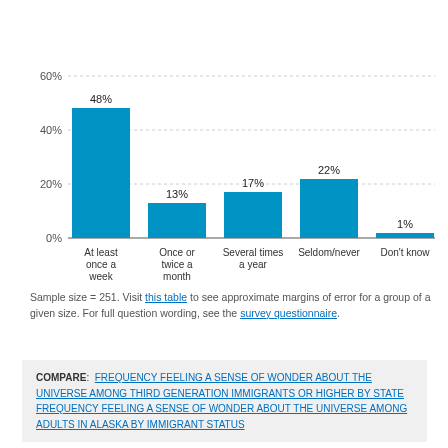[Figure (bar-chart): ]
Sample size = 251. Visit this table to see approximate margins of error for a group of a given size. For full question wording, see the survey questionnaire.
COMPARE: FREQUENCY FEELING A SENSE OF WONDER ABOUT THE UNIVERSE AMONG THIRD GENERATION IMMIGRANTS OR HIGHER BY STATE  FREQUENCY FEELING A SENSE OF WONDER ABOUT THE UNIVERSE AMONG ADULTS IN ALASKA BY IMMIGRANT STATUS